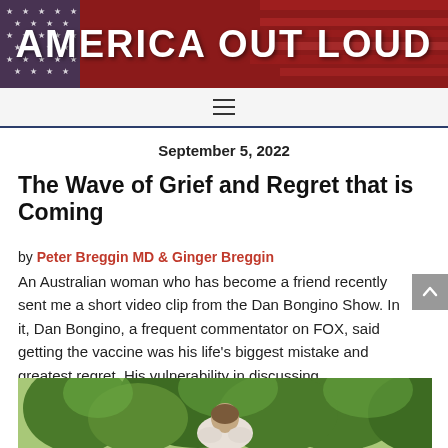AMERICA OUT LOUD
September 5, 2022
The Wave of Grief and Regret that is Coming
by Peter Breggin MD & Ginger Breggin
An Australian woman who has become a friend recently sent me a short video clip from the Dan Bongino Show. In it, Dan Bongino, a frequent commentator on FOX, said getting the vaccine was his life's biggest mistake and greatest regret. His vulnerability in discussing...
[Figure (photo): Photograph of a woman outdoors, appearing to be embracing someone or holding her head in her hands, with green trees in the background.]